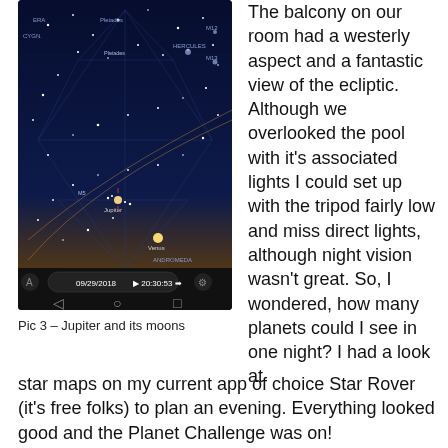[Figure (screenshot): Screenshot of Star Rover app showing a star map with Jupiter and its moons visible, dated 09/29/2018 at 20:30:53. Dark blue background with constellation lines, stars, and planets labeled including Jupiter, Venus, Pleiades, Hercules, Andromeda.]
Pic 3 – Jupiter and its moons
The balcony on our room had a westerly aspect and a fantastic view of the ecliptic.  Although we overlooked the pool with it's associated lights I could set up with the tripod fairly low and miss direct lights, although night vision wasn't great. So, I wondered, how many planets could I see in one night?  I had a look at star maps on my current app of choice Star Rover (it's free folks) to plan an evening.  Everything looked good and the Planet Challenge was on!